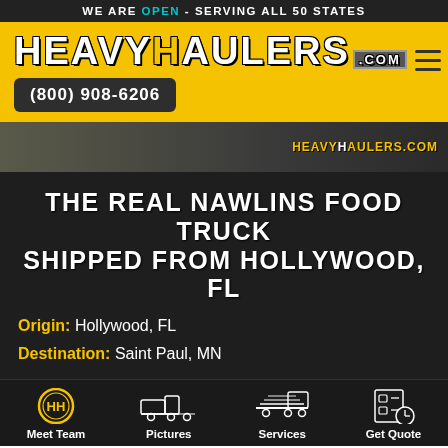WE ARE OPEN - SERVING ALL 50 STATES
[Figure (logo): HeavyHaulers.com logo in yellow/white on yellow background with distressed text effect]
(800) 908-6206
[Figure (photo): Dark hero banner with truck on flatbed trailer, HeavyHaulers.com watermark in yellow]
THE REAL NAWLINS FOOD TRUCK SHIPPED FROM HOLLYWOOD, FL
Origin: Hollywood, FL
Destination: Saint Paul, MN
[Figure (illustration): Bottom navigation bar with four icons: Meet Team (HH circle logo), Pictures (truck on trailer), Services (truck with boards), Get Quote (clipboard icon)]